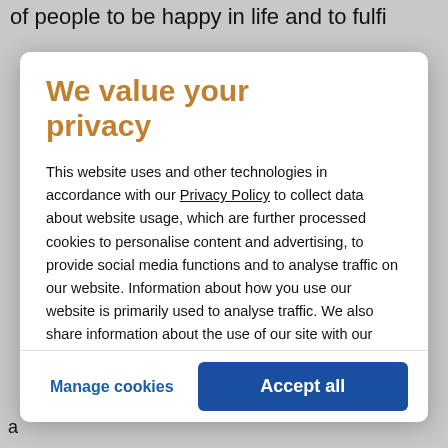of people to be happy in life and to fulfi
We value your privacy
This website uses and other technologies in accordance with our Privacy Policy to collect data about website usage, which are further processed cookies to personalise content and advertising, to provide social media functions and to analyse traffic on our website. Information about how you use our website is primarily used to analyse traffic. We also share information about the use of our site with our social media, advertising and analytics
Manage cookies
Accept all
a